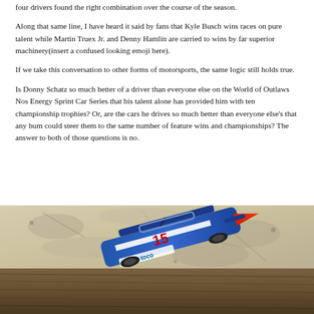four drivers found the right combination over the course of the season.
Along that same line, I have heard it said by fans that Kyle Busch wins races on pure talent while Martin Truex Jr. and Denny Hamlin are carried to wins by far superior machinery(insert a confused looking emoji here).
If we take this conversation to other forms of motorsports, the same logic still holds true.
Is Donny Schatz so much better of a driver than everyone else on the World of Outlaws Nos Energy Sprint Car Series that his talent alone has provided him with ten championship trophies? Or, are the cars he drives so much better than everyone else's that any bum could steer them to the same number of feature wins and championships? The answer to both of those questions is no.
[Figure (photo): A die-cast or model sprint car with the number 15 and Toco branding, lying on what appears to be a granite or stone countertop above a wood surface.]